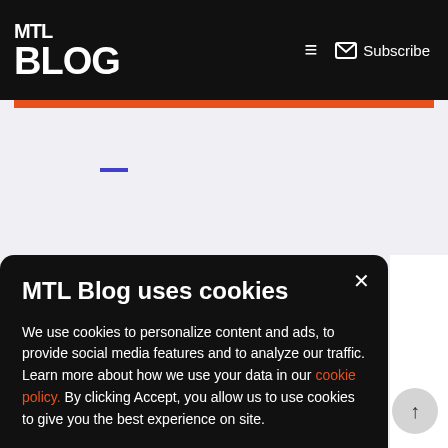MTL Blog — Subscribe
[Figure (screenshot): Partially visible webpage content area with light lavender background and a small blue horizontal dash element]
MTL Blog uses cookies
We use cookies to personalize content and ads, to provide social media features and to analyze our traffic. Learn more about how we use your data in our cookie policy. By clicking Accept, you allow us to use cookies to give you the best experience on site.
Accept